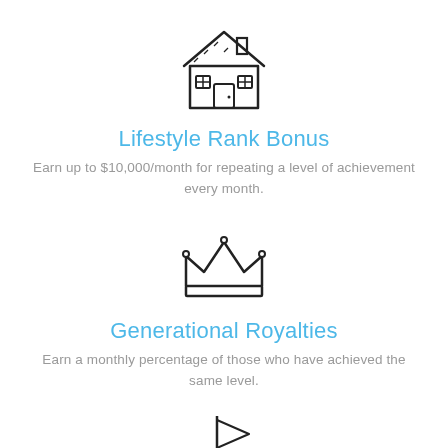[Figure (illustration): House icon with roof, windows, door, and chimney rendered in outline style]
Lifestyle Rank Bonus
Earn up to $10,000/month for repeating a level of achievement every month.
[Figure (illustration): Crown icon rendered in outline style]
Generational Royalties
Earn a monthly percentage of those who have achieved the same level.
[Figure (illustration): Flag/golf hole icon rendered in outline style, partially visible at bottom]